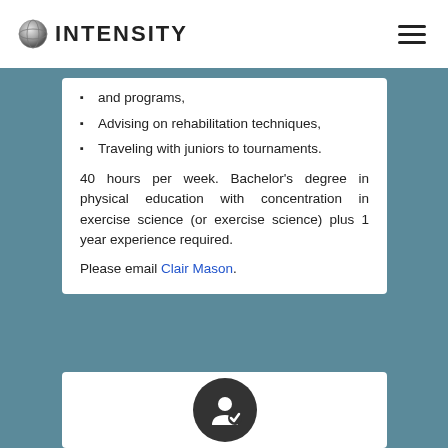INTENSITY
and programs,
Advising on rehabilitation techniques,
Traveling with juniors to tournaments.
40 hours per week. Bachelor's degree in physical education with concentration in exercise science (or exercise science) plus 1 year experience required.
Please email Clair Mason.
[Figure (illustration): Dark circular icon with a person/user checkmark symbol inside, partially visible at bottom of page]